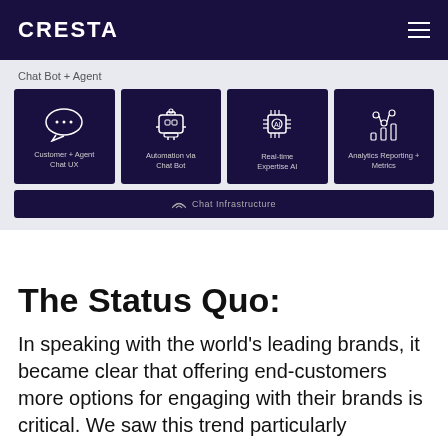CRESTA
[Figure (infographic): Chat Bot + Agent diagram with four icon cards: Customer + Agent Chat UX, Automation via Chat Bot, Real-time Expertise AI, Analytics Reporting + Metrics; and a Chat Infrastructure bar below.]
The Status Quo:
In speaking with the world's leading brands, it became clear that offering end-customers more options for engaging with their brands is critical. We saw this trend particularly